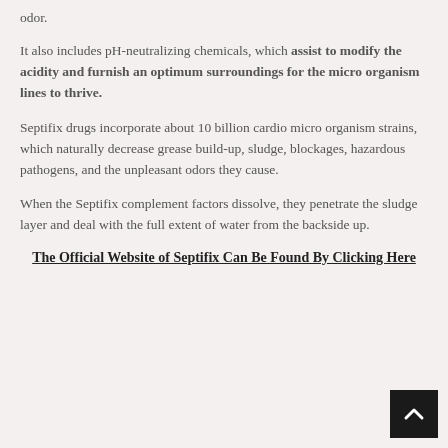odor.
It also includes pH-neutralizing chemicals, which assist to modify the acidity and furnish an optimum surroundings for the micro organism lines to thrive.
Septifix drugs incorporate about 10 billion cardio micro organism strains, which naturally decrease grease build-up, sludge, blockages, hazardous pathogens, and the unpleasant odors they cause.
When the Septifix complement factors dissolve, they penetrate the sludge layer and deal with the full extent of water from the backside up.
The Official Website of Septifix Can Be Found By Clicking Here